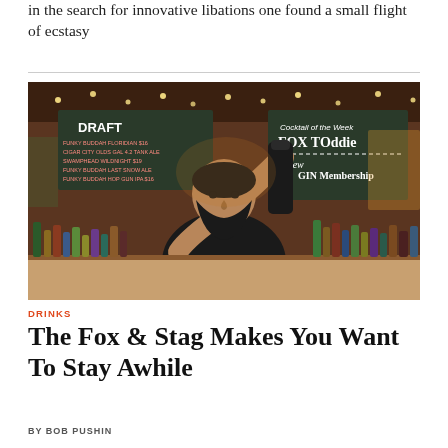in the search for innovative libations one found a small flight of ecstasy
[Figure (photo): A bearded male bartender in a black shirt shaking a cocktail shaker behind a bar. In the background is a chalkboard menu listing draft beers and a cocktail of the week: Fox Toddie with New Gin Membership. The bar is lined with numerous bottles of spirits.]
DRINKS
The Fox & Stag Makes You Want To Stay Awhile
BY BOB PUSHIN